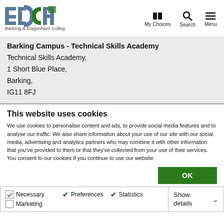[Figure (logo): Barking & Dagenham College logo with BDCA letters in blue and green, and text 'Barking & Dagenham College' below]
My Choices  Search  Menu
Barking Campus - Technical Skills Academy
Technical Skills Academy,
1 Short Blue Place,
Barking,
IG11 8FJ
This website uses cookies
We use cookies to personalise content and ads, to provide social media features and to analyse our traffic. We also share information about your use of our site with our social media, advertising and analytics partners who may combine it with other information that you've provided to them or that they've collected from your use of their services. You consent to our cookies if you continue to use our website.
OK
Necessary  Preferences  Statistics  Marketing  Show details